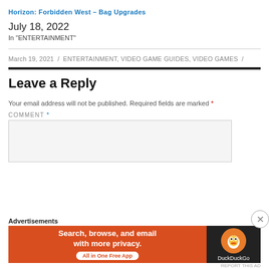Horizon: Forbidden West – Bag Upgrades
July 18, 2022
In "ENTERTAINMENT"
March 19, 2021 / ENTERTAINMENT, VIDEO GAME GUIDES, VIDEO GAMES /
Leave a Reply
Your email address will not be published. Required fields are marked *
COMMENT *
[Figure (screenshot): DuckDuckGo advertisement banner: 'Search, browse, and email with more privacy. All in One Free App' with DuckDuckGo logo on dark background]